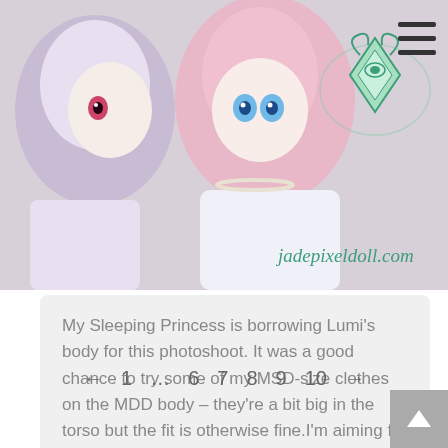[Figure (photo): Photo of two anime-style ball-jointed dolls; one with lavender hair and pink eyes, one with pink hair and blue eyes wearing white lolita clothing. Green teal decorative logo/diamond emblem and website name 'jadepixeldoll.com' overlaid on right side. Hamburger menu icon top right.]
My Sleeping Princess is borrowing Lumi's body for this photoshoot. It was a good chance to try some of my MSD-size clothes on the MDD body – they're a bit big in the torso but the fit is otherwise fine.I'm aiming for a soft, antique/dreamy feel by using a lot of plain white props and…
← 1 … 6 7 8 9 10 →